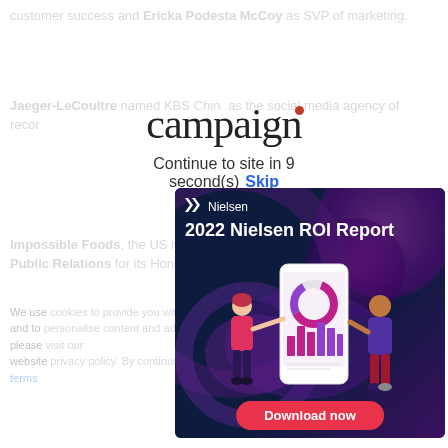customer success and Ericka Podesta McCoy as SVP of marketing.
Jaeger-LeCoultre named KBS China as the social media agency of record.
[Figure (logo): Campaign magazine logo with red dot above the letter i]
Continue to site in 9 second(s) Skip
Impossible Foods, the US meatless burger manufacturer, tapped Stir Public Relations for its Hong Kong launch.
We use cookies ... and to ... please ... website ... terms
[Figure (infographic): Nielsen 2022 Nielsen ROI Report advertisement banner with dark navy background, decorative purple circles, two illustrated figures interacting with a large smartphone showing charts, and a red Download now button]
ations 18. The y as well